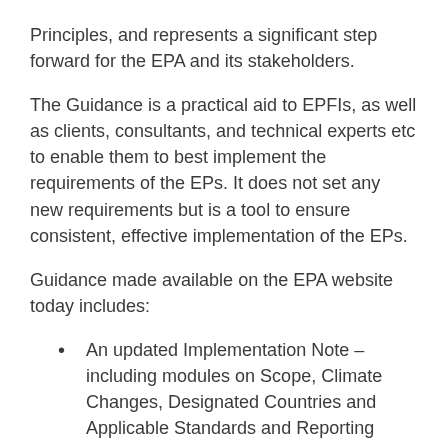Principles, and represents a significant step forward for the EPA and its stakeholders.
The Guidance is a practical aid to EPFIs, as well as clients, consultants, and technical experts etc to enable them to best implement the requirements of the EPs. It does not set any new requirements but is a tool to ensure consistent, effective implementation of the EPs.
Guidance made available on the EPA website today includes:
An updated Implementation Note – including modules on Scope, Climate Changes, Designated Countries and Applicable Standards and Reporting
New Thematic Guidance Notes on Climate